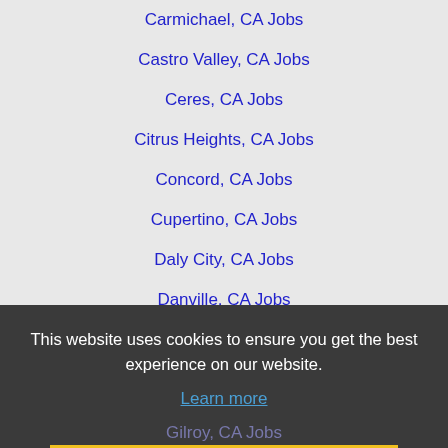Carmichael, CA Jobs
Castro Valley, CA Jobs
Ceres, CA Jobs
Citrus Heights, CA Jobs
Concord, CA Jobs
Cupertino, CA Jobs
Daly City, CA Jobs
Danville, CA Jobs
Davis, CA Jobs
Dublin, CA Jobs
Elk Grove, CA Jobs
Fairfield, CA Jobs
Folsom, CA Jobs
Fremont, CA Jobs
Gilroy, CA Jobs
This website uses cookies to ensure you get the best experience on our website.
Learn more
Hayward, CA Jobs
Laguna, CA Jobs
Livermore, CA Jobs